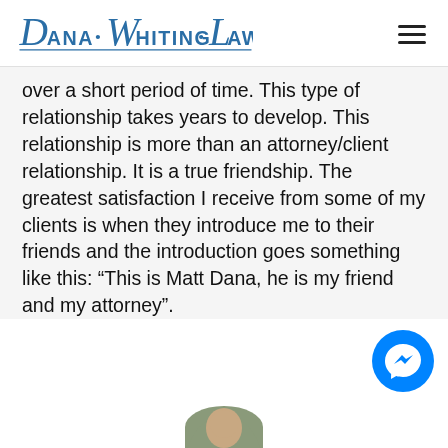Dana Whiting Law
over a short period of time. This type of relationship takes years to develop. This relationship is more than an attorney/client relationship. It is a true friendship. The greatest satisfaction I receive from some of my clients is when they introduce me to their friends and the introduction goes something like this: “This is Matt Dana, he is my friend and my attorney”.
[Figure (other): Facebook Messenger chat button (blue circle with white lightning bolt icon)]
[Figure (photo): Partial photo of a person visible at the bottom of the page]